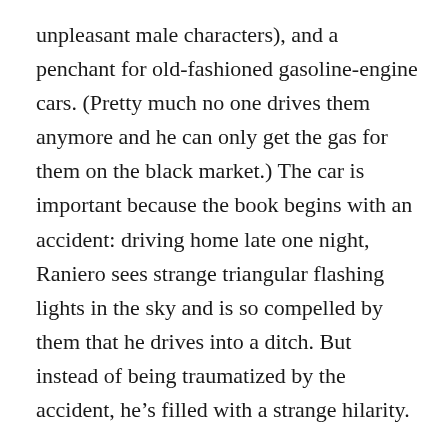unpleasant male characters), and a penchant for old-fashioned gasoline-engine cars. (Pretty much no one drives them anymore and he can only get the gas for them on the black market.) The car is important because the book begins with an accident: driving home late one night, Raniero sees strange triangular flashing lights in the sky and is so compelled by them that he drives into a ditch. But instead of being traumatized by the accident, he’s filled with a strange hilarity.
He’s also concussed, which opens up the possibility that everything that comes after is some kind of